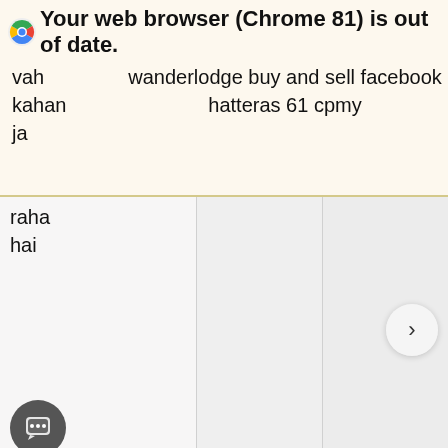Your web browser (Chrome 81) is out of date.
vah kahan ja raha hai
wanderlodge buy and sell facebook hatteras 61 cpmy
[Figure (screenshot): Three column image/content area with light gray background and a right-arrow navigation button]
raha hai
weekly reader books
one piece kapitel 1034 spoiler
h ba